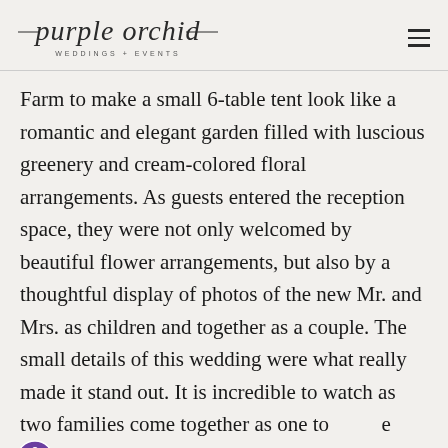purple orchid WEDDINGS + EVENTS
Farm to make a small 6-table tent look like a romantic and elegant garden filled with luscious greenery and cream-colored floral arrangements. As guests entered the reception space, they were not only welcomed by beautiful flower arrangements, but also by a thoughtful display of photos of the new Mr. and Mrs. as children and together as a couple. The small details of this wedding were what really made it stand out. It is incredible to watch as two families come together as one to see such a joyful occasion happen.